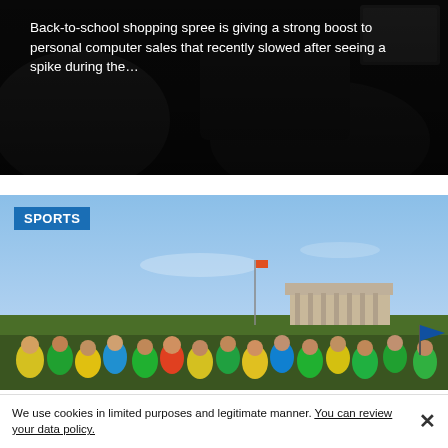[Figure (photo): Dark background card with text overlay showing a news snippet about back-to-school shopping and PC sales.]
Back-to-school shopping spree is giving a strong boost to personal computer sales that recently slowed after seeing a spike during the...
[Figure (photo): Sports photo showing a large crowd of cyclists and runners gathered outdoors on a sunny day, with buildings and trees visible in the background. A blue SPORTS label is overlaid on the top-left of the image.]
We use cookies in limited purposes and legitimate manner. You can review your data policy.